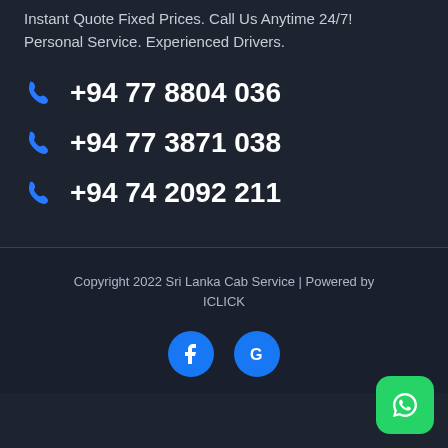Instant Quote Fixed Prices. Call Us Anytime 24/7! Personal Service. Experienced Drivers.
+94 77 8804 036
+94 77 3871 038
+94 74 2092 211
Copyright 2022 Sri Lanka Cab Service | Powered by ICLICK